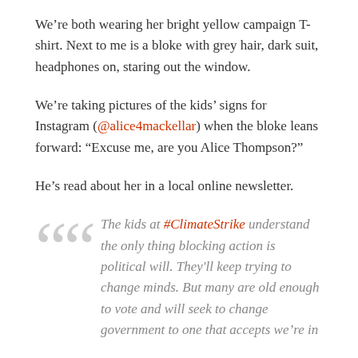We’re both wearing her bright yellow campaign T-shirt. Next to me is a bloke with grey hair, dark suit, headphones on, staring out the window.
We’re taking pictures of the kids’ signs for Instagram (@alice4mackellar) when the bloke leans forward: “Excuse me, are you Alice Thompson?”
He’s read about her in a local online newsletter.
The kids at #ClimateStrike understand the only thing blocking action is political will. They’ll keep trying to change minds. But many are old enough to vote and will seek to change government to one that accepts we’re in